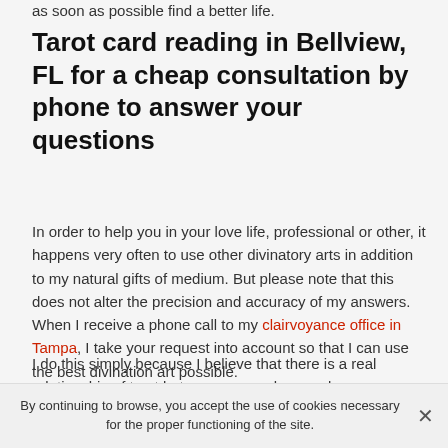as soon as possible find a better life.
Tarot card reading in Bellview, FL for a cheap consultation by phone to answer your questions
In order to help you in your love life, professional or other, it happens very often to use other divinatory arts in addition to my natural gifts of medium. But please note that this does not alter the precision and accuracy of my answers. When I receive a phone call to my clairvoyance office in Tampa, I take your request into account so that I can use the best divination art possible.
I do this simply because I believe that there is a real relationship of trust between you and me and even more that must be created. Indeed, to help you, it is important that you feel good with me and to achieve this, I have to
By continuing to browse, you accept the use of cookies necessary for the proper functioning of the site.